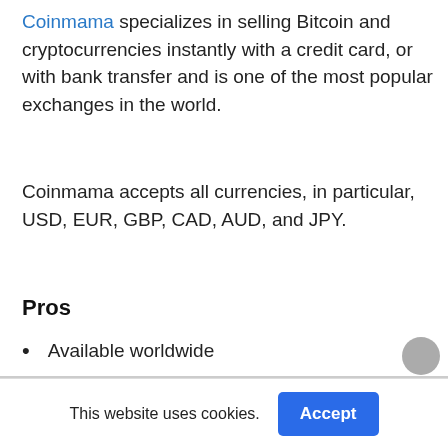Coinmama specializes in selling Bitcoin and cryptocurrencies instantly with a credit card, or with bank transfer and is one of the most popular exchanges in the world.
Coinmama accepts all currencies, in particular, USD, EUR, GBP, CAD, AUD, and JPY.
Pros
Available worldwide
High purchasing limits
Dependable and trustworthy
This website uses cookies.